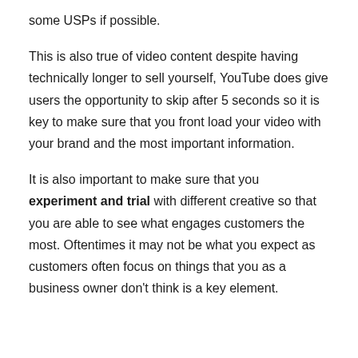some USPs if possible.
This is also true of video content despite having technically longer to sell yourself, YouTube does give users the opportunity to skip after 5 seconds so it is key to make sure that you front load your video with your brand and the most important information.
It is also important to make sure that you experiment and trial with different creative so that you are able to see what engages customers the most. Oftentimes it may not be what you expect as customers often focus on things that you as a business owner don't think is a key element.